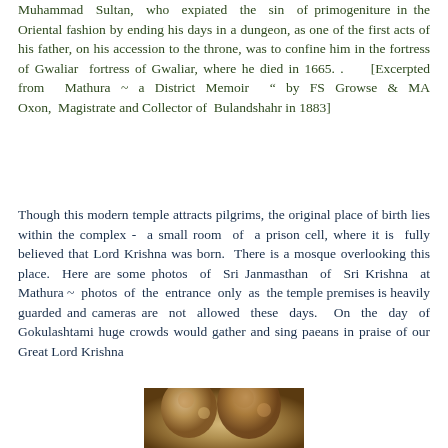Muhammad Sultan, who expiated the sin of primogeniture in the Oriental fashion by ending his days in a dungeon, as one of the first acts of his father, on his accession to the throne, was to confine him in the fortress of Gwaliar  fortress of Gwaliar, where he died in 1665. .     [Excerpted from  Mathura ~ a District Memoir  " by FS Growse & MA Oxon,  Magistrate and Collector of  Bulandshahr in 1883]
Though this modern temple attracts pilgrims, the original place of birth lies within the complex -  a small room  of  a prison cell, where it is  fully believed that Lord Krishna was born.  There is a mosque overlooking this place.  Here are some photos  of  Sri Janmasthan  of  Sri Krishna  at Mathura  ~  photos  of  the  entrance  only  as  the temple premises is heavily guarded and cameras are  not  allowed  these  days.   On  the  day  of Gokulashtami huge crowds would gather and sing paeans in praise of our Great Lord Krishna
[Figure (photo): Partial view of a religious image or painting, appearing to show figures, visible at the bottom of the page, cropped.]